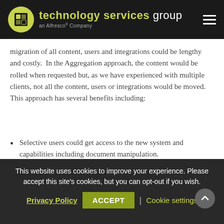technology services group — an Alfresco® Company
migration of all content, users and integrations could be lengthy and costly.  In the Aggregation approach, the content would be rolled when requested but, as we have experienced with multiple clients, not all the content, users or integrations would be moved.  This approach has several benefits including:
Selective users could get access to the new system and capabilities including document manipulation.
This website uses cookies to improve your experience. Please accept this site's cookies, but you can opt-out if you wish.